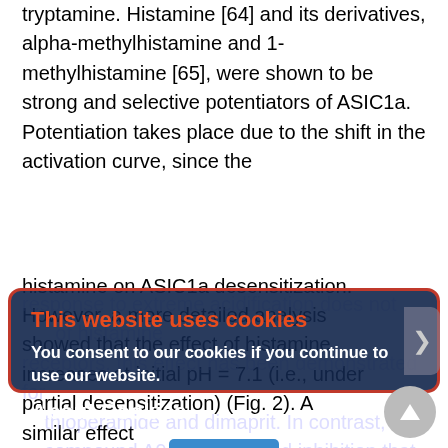tryptamine. Histamine [64] and its derivatives, alpha-methylhistamine and 1-methylhistamine [65], were shown to be strong and selective potentiators of ASIC1a. Potentiation takes place due to the shift in the activation curve, since the
response to extreme acidification does not ... of histamine receptors, this effect has been demonstrated for ... thioperamide and dimaprit. In contrast, compound A943931 caused inhibition that was dependent on the membrane voltage rather than on activating pH, which is indicative of a pore-blocking mechanism of action [65]. The initial study [64] did not reveal any effect of
histamine on ASIC1a desensitization. However, a more detailed analysis showed that the effect of histamine increases at initial pH = 7.1 (i.e., under partial desensitization) (Fig. 2). A similar effect
[Figure (screenshot): Cookie consent dialog overlay on a scientific article page. Title: 'This website uses cookies'. Body: 'You consent to our cookies if you continue to use our website.' Section: 'About Cookies'. Button: 'OK']